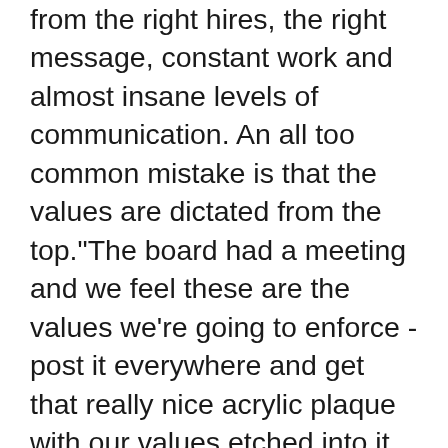from the right hires, the right message, constant work and almost insane levels of communication. An all too common mistake is that the values are dictated from the top."The board had a meeting and we feel these are the values we're going to enforce - post it everywhere and get that really nice acrylic plaque with our values etched into it for the lobby".
But the values that lead to a great culture have to come from within the teams. They also can't come from a 30 minute lunch-and-learn that only really fills in that boardroom bingo card. A leader has to share genuine value-based stories from personal experience, and when they connect, similar stories will come out of the team members. Leaders must take one on one time with team members and listen to get to